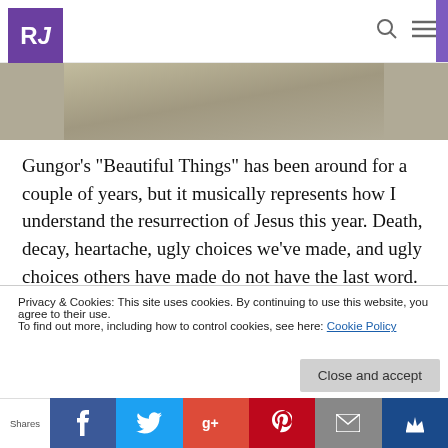RJ [logo] with search and menu icons
[Figure (photo): Partial image strip showing a muted tan/khaki background image]
Gungor’s “Beautiful Things” has been around for a couple of years, but it musically represents how I understand the resurrection of Jesus this year. Death, decay, heartache, ugly choices we’ve made, and ugly choices others have made do not have the last word.
Privacy & Cookies: This site uses cookies. By continuing to use this website, you agree to their use.
To find out more, including how to control cookies, see here: Cookie Policy
Close and accept
Shares | Facebook | Twitter | Google+ | Pinterest | Email | Klustern